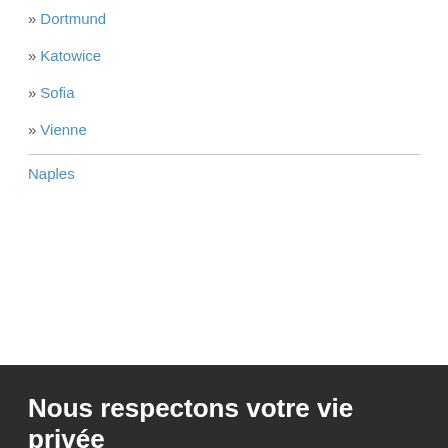» Dortmund
» Katowice
» Sofia
» Vienne
Naples
Nous respectons votre vie privée
Nous-mêmes et nos partenaires recueillons des informations sur votre utilisation de VolsPasCbers.fr pour vous fournir une expérience personnalisée, des publicités et informations pertinentes ainsi que suivre les conversions. Cela nous aide à vous offrir notre service, l'améliorer et rester au courant des besoins de nos visiteurs. Veuillez consulter notre politique en matière de cookies pour en savoir plus ou apprendre comment les contrôler.
OK
Modifier les préférences relatives aux cookies